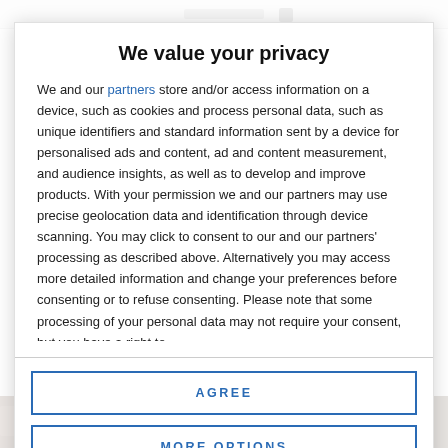We value your privacy
We and our partners store and/or access information on a device, such as cookies and process personal data, such as unique identifiers and standard information sent by a device for personalised ads and content, ad and content measurement, and audience insights, as well as to develop and improve products. With your permission we and our partners may use precise geolocation data and identification through device scanning. You may click to consent to our and our partners' processing as described above. Alternatively you may access more detailed information and change your preferences before consenting or to refuse consenting. Please note that some processing of your personal data may not require your consent, but you have a right to
AGREE
MORE OPTIONS
[Figure (photo): Background photo strip at bottom of page showing an outdoor scene]